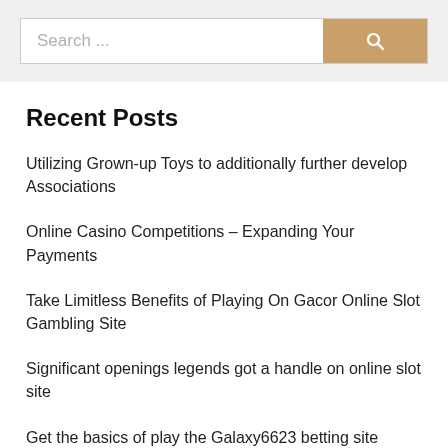[Figure (screenshot): Search bar with text input placeholder 'Search ...' and a tan/gold colored search button with magnifying glass icon]
Recent Posts
Utilizing Grown-up Toys to additionally further develop Associations
Online Casino Competitions – Expanding Your Payments
Take Limitless Benefits of Playing On Gacor Online Slot Gambling Site
Significant openings legends got a handle on online slot site
Get the basics of play the Galaxy6623 betting site